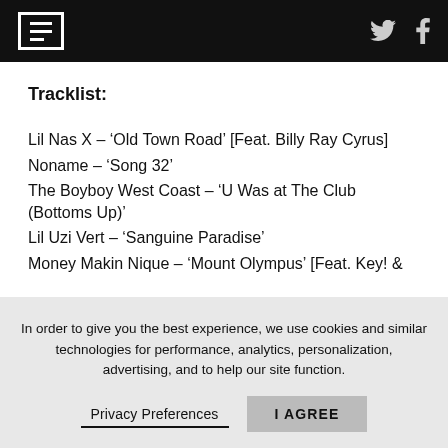F [logo] | Twitter | Facebook
Tracklist:
Lil Nas X – ‘Old Town Road’ [Feat. Billy Ray Cyrus]
Noname – ‘Song 32’
The Boyboy West Coast – ‘U Was at The Club (Bottoms Up)’
Lil Uzi Vert – ‘Sanguine Paradise’
Money Makin Nique – ‘Mount Olympus’ [Feat. Key! &
In order to give you the best experience, we use cookies and similar technologies for performance, analytics, personalization, advertising, and to help our site function.
Privacy Preferences   I AGREE